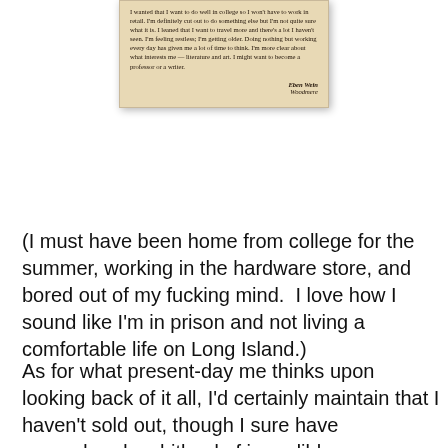[Figure (photo): A scanned newspaper clipping on aged yellowish paper showing a quote from Eben Wein, Woodmere. The text discusses wanting to do well in college, not wanting to work in retail, wanting to travel, feeling restless, and possibly becoming a professor or writer.]
(I must have been home from college for the summer, working in the hardware store, and bored out of my fucking mind.  I love how I sound like I'm in prison and not living a comfortable life on Long Island.)
As for what present-day me thinks upon looking back of it all, I'd certainly maintain that I haven't sold out, though I sure have squandered a shitload of incredible opportunities, which is easily about a thousand times worse.
And yes, I know what you're thinking: "You're not telling the